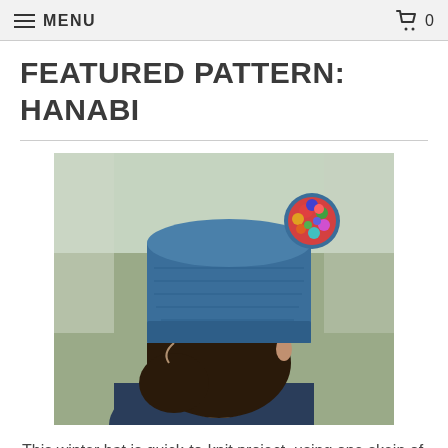MENU  0
FEATURED PATTERN: HANABI
[Figure (photo): Profile photo of a person wearing a blue knitted winter hat (beanie) with a multicolored pompom, facing left, outdoors with blurred background.]
This winter hat is quick-to-knit project, using one skein of bulky yarn. It's worked in a warm and dense honeycomb brioch